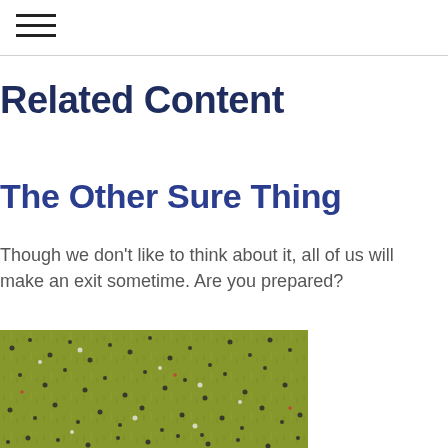☰
Related Content
The Other Sure Thing
Though we don't like to think about it, all of us will make an exit sometime. Are you prepared?
[Figure (photo): Aerial view of a large crowd of people scattered across a green grass field, photographed from above.]